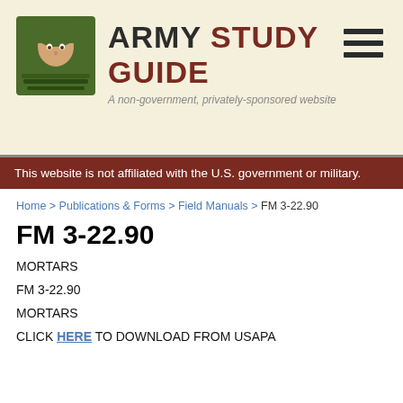[Figure (logo): Army Study Guide website header with soldier logo, site title 'ARMY STUDY GUIDE', subtitle 'A non-government, privately-sponsored website', and hamburger menu icon]
This website is not affiliated with the U.S. government or military.
Home > Publications & Forms > Field Manuals > FM 3-22.90
FM 3-22.90
MORTARS
FM 3-22.90
MORTARS
CLICK HERE TO DOWNLOAD FROM USAPA